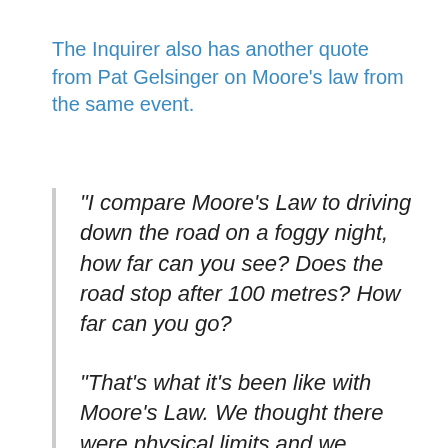The Inquirer also has another quote from Pat Gelsinger on Moore’s law from the same event.
“I compare Moore’s Law to driving down the road on a foggy night, how far can you see? Does the road stop after 100 metres? How far can you go?

“That’s what it’s been like with Moore’s Law. We thought there were physical limits and we casually speak about going to 10